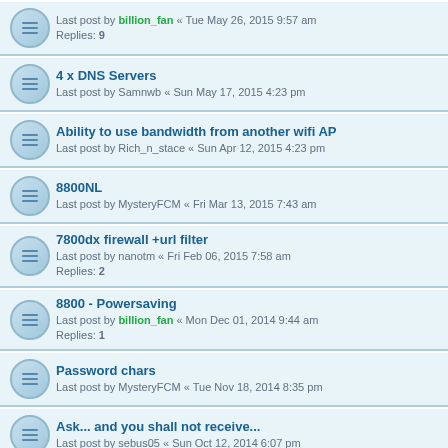Last post by billion_fan « Tue May 26, 2015 9:57 am
Replies: 9
4 x DNS Servers
Last post by Samnwb « Sun May 17, 2015 4:23 pm
Ability to use bandwidth from another wifi AP
Last post by Rich_n_stace « Sun Apr 12, 2015 4:23 pm
8800NL
Last post by MysteryFCM « Fri Mar 13, 2015 7:43 am
7800dx firewall +url filter
Last post by nanotm « Fri Feb 06, 2015 7:58 am
Replies: 2
8800 - Powersaving
Last post by billion_fan « Mon Dec 01, 2014 9:44 am
Replies: 1
Password chars
Last post by MysteryFCM « Tue Nov 18, 2014 8:35 pm
Ask... and you shall not receive...
Last post by sebus05 « Sun Oct 12, 2014 6:07 pm
8800NL Firewall log - request extra things logged
Last post by rossgrey « Fri Oct 10, 2014 8:21 am
7800DXL Hosts names by MAC address
Last post by MadTomT « Tue Jun 10, 2014 10:37 pm
Replies: 2
7800X DHCP Reservation
Last post by muntean « Sun May 11, 2014 10:05 pm